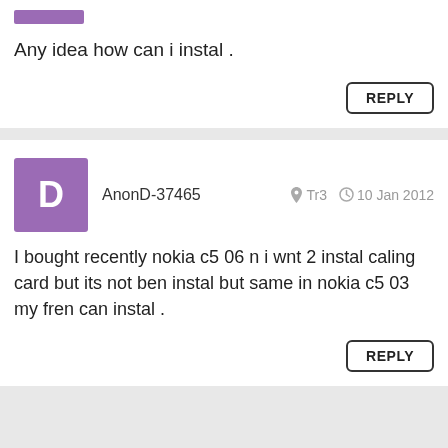[Figure (other): Purple avatar strip (cropped, top of previous comment)]
Any idea how can i instal .
REPLY
[Figure (other): Purple square avatar with letter D for user AnonD-37465]
AnonD-37465   Tr3   10 Jan 2012
I bought recently nokia c5 06 n i wnt 2 instal caling card but its not ben instal but same in nokia c5 03 my fren can instal .
REPLY